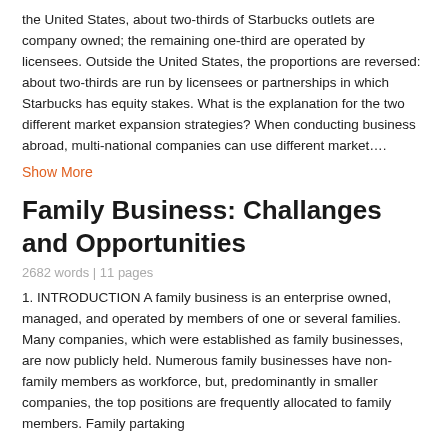the United States, about two-thirds of Starbucks outlets are company owned; the remaining one-third are operated by licensees. Outside the United States, the proportions are reversed: about two-thirds are run by licensees or partnerships in which Starbucks has equity stakes. What is the explanation for the two different market expansion strategies? When conducting business abroad, multi-national companies can use different market….
Show More
Family Business: Challanges and Opportunities
2682 words | 11 pages
1. INTRODUCTION A family business is an enterprise owned, managed, and operated by members of one or several families. Many companies, which were established as family businesses, are now publicly held. Numerous family businesses have non-family members as workforce, but, predominantly in smaller companies, the top positions are frequently allocated to family members. Family partaking